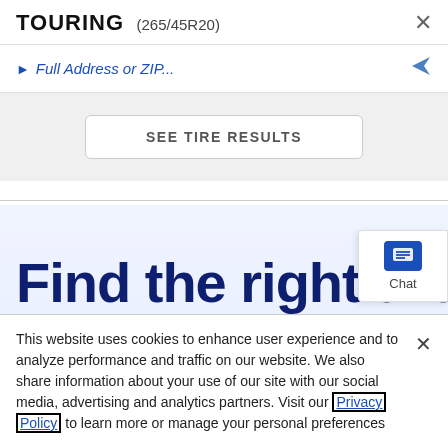TOURING (265/45R20)
Full Address or ZIP...
SEE TIRE RESULTS
Find the right tires for your HONDA
[Figure (screenshot): Chat widget button with message icon and 'Chat' label]
This website uses cookies to enhance user experience and to analyze performance and traffic on our website. We also share information about your use of our site with our social media, advertising and analytics partners. Visit our Privacy Policy to learn more or manage your personal preferences